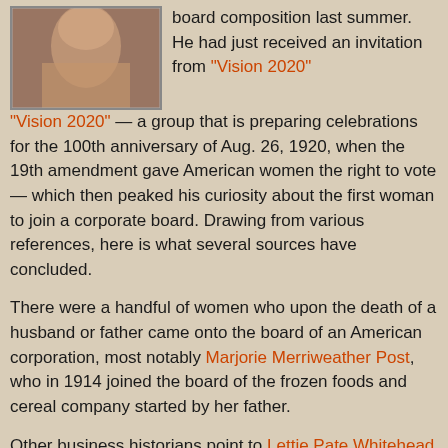[Figure (photo): A partial photograph of a woman, partially cropped, with warm brown tones.]
board composition last summer. He had just received an invitation from "Vision 2020" — a group that is preparing celebrations for the 100th anniversary of Aug. 26, 1920, when the 19th amendment gave American women the right to vote — which then peaked his curiosity about the first woman to join a corporate board. Drawing from various references, here is what several sources have concluded.
There were a handful of women who upon the death of a husband or father came onto the board of an American corporation, most notably Marjorie Merriweather Post, who in 1914 joined the board of the frozen foods and cereal company started by her father.
Other business historians point to Lettie Pate Whitehead (pictured) as the first independent woman to serve on the board of a major U.S. corporation. An Atlanta business, church and civic leader, she joined the Coca-Cola Co. board in 1934. This was a year after President Roosevelt appointed Frances Perkins as Secretary of Labor, the first